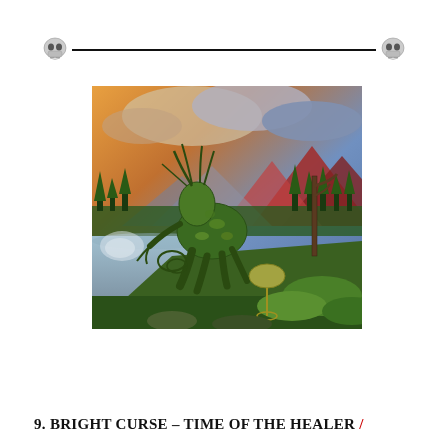[Figure (illustration): Decorative page header with two skull icons connected by a horizontal black line spanning the width of the page.]
[Figure (photo): Fantasy/surrealist oil painting depicting a green moss-and-vine creature resembling a running deer or beast made of foliage, set in a dramatic mountain lakeside landscape with colorful stormy sky, red mountains, pine trees, and lush greenery.]
9. BRIGHT CURSE – TIME OF THE HEALER /